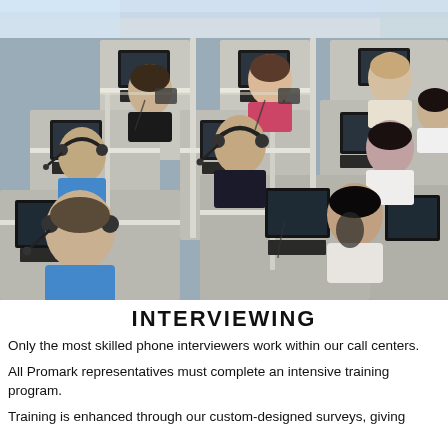[Figure (photo): Overhead view of a call center with multiple cubicles, each containing a computer monitor and headset. Several young people wearing headsets are seated at the workstations, working at computers.]
INTERVIEWING
Only the most skilled phone interviewers work within our call centers.
All Promark representatives must complete an intensive training program.
Training is enhanced through our custom-designed surveys, giving